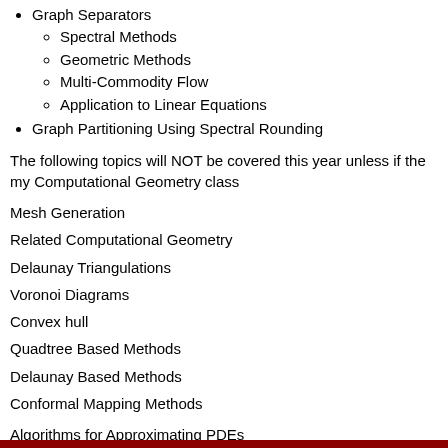Graph Separators
Spectral Methods
Geometric Methods
Multi-Commodity Flow
Application to Linear Equations
Graph Partitioning Using Spectral Rounding
The following topics will NOT be covered this year unless if the my Computational Geometry class
Mesh Generation
Related Computational Geometry
Delaunay Triangulations
Voronoi Diagrams
Convex hull
Quadtree Based Methods
Delaunay Based Methods
Conformal Mapping Methods
Algorithms for Approximating PDEs
Structure of Elliptic PDEs
Finite Element
Finite Difference
Control Volume